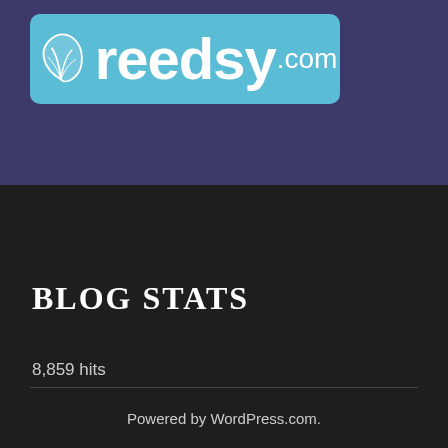[Figure (logo): Reedsy.com logo on a teal/cyan rounded rectangle background with a leaf/feather icon and the text 'reedsy.com' in white on a purple/indigo banner background]
BLOG STATS
8,859 hits
Powered by WordPress.com.